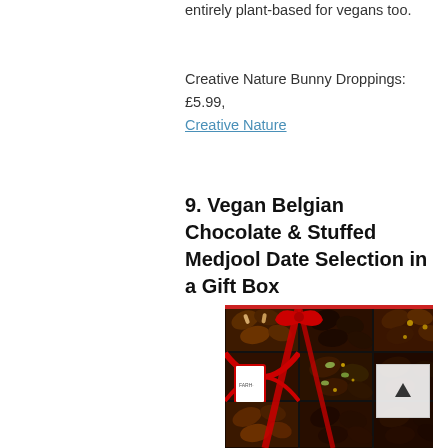entirely plant-based for vegans too.
Creative Nature Bunny Droppings: £5.99, Creative Nature
9. Vegan Belgian Chocolate & Stuffed Medjool Date Selection in a Gift Box
[Figure (photo): A gift box of Farhi Vegan Belgian Chocolate and Stuffed Medjool Dates arranged in a grid, decorated with a red ribbon and bow tied around the box with a small white Farhi gift tag.]